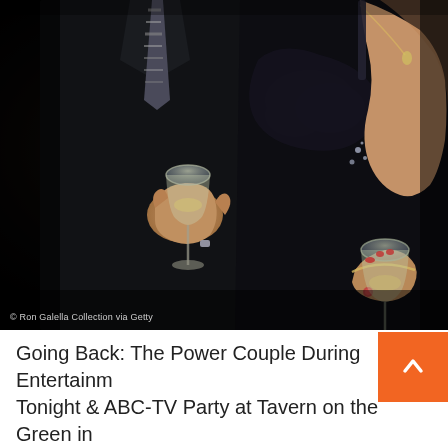[Figure (photo): A couple at a formal event holding wine glasses. The man on the left is in a dark suit with a striped tie; the woman on the right is in a strapless black dress with jewelry. Photo taken at Tavern on the Green in New York City in 1983.]
© Ron Galella Collection via Getty
Going Back: The Power Couple During Entertainment Tonight & ABC-TV Party at Tavern on the Green in New York City in 1983